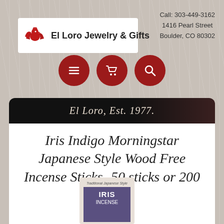[Figure (logo): El Loro Jewelry & Gifts logo with red bird/eagle icon on white background]
Call: 303-449-3162
1416 Pearl Street
Boulder, CO 80302
[Figure (infographic): Three dark red circular navigation buttons: hamburger menu, shopping cart, and search magnifier]
El Loro, Est. 1977.
Iris Indigo Morningstar Japanese Style Wood Free Incense Sticks- 50 sticks or 200 sticks
[Figure (photo): Product packaging for Iris Indigo incense sticks with purple/dark label showing IRIS INCENSE text]